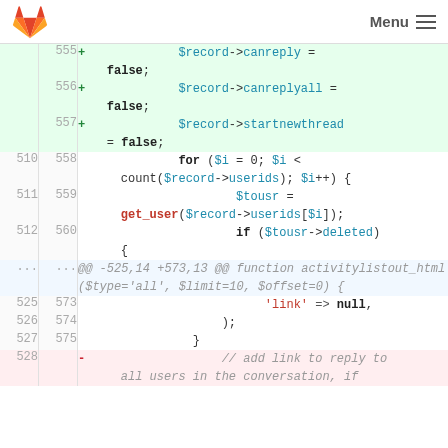GitLab Menu
[Figure (screenshot): GitLab code diff view showing PHP code changes. Added lines 555-557 set $record->canreply, $record->canreplyall, and $record->startnewthread to false. Lines 510-512/558-560 show a for loop iterating over userids, getting user and checking deleted. A meta hunk header shows @@ -525,14 +573,13 @@ function activitylistout_html($type='all', $limit=10, $offset=0) {. Lines 525-527/573-575 show 'link' => null, ); }. Line 528 (deleted) shows // add link to reply to all users in the conversation, if.]